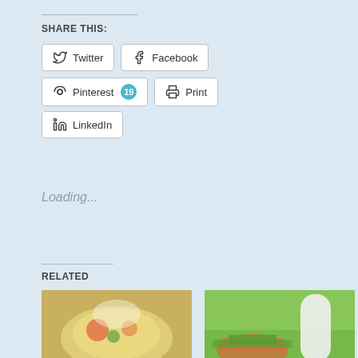SHARE THIS:
Twitter | Facebook | Pinterest 19 | Print | LinkedIn
Loading...
RELATED
[Figure (photo): Food photo: cheesy summer stew being scooped]
Cheesy "Summer Stew"
Apr 18, 2016
[Figure (photo): Garden photo: hands holding green beans with milk bottle in background]
2018: A year in the garden.